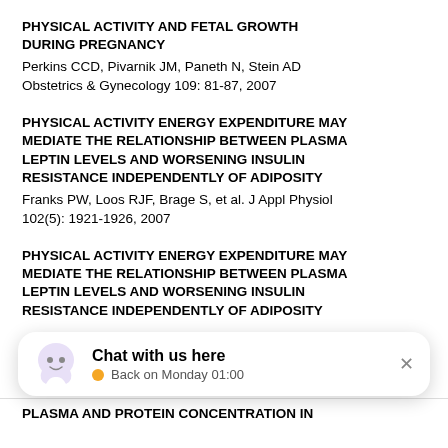PHYSICAL ACTIVITY AND FETAL GROWTH DURING PREGNANCY
Perkins CCD, Pivarnik JM, Paneth N, Stein AD
Obstetrics & Gynecology 109: 81-87, 2007
PHYSICAL ACTIVITY ENERGY EXPENDITURE MAY MEDIATE THE RELATIONSHIP BETWEEN PLASMA LEPTIN LEVELS AND WORSENING INSULIN RESISTANCE INDEPENDENTLY OF ADIPOSITY
Franks PW, Loos RJF, Brage S, et al. J Appl Physiol 102(5): 1921-1926, 2007
PHYSICAL ACTIVITY ENERGY EXPENDITURE MAY MEDIATE THE RELATIONSHIP BETWEEN PLASMA LEPTIN LEVELS AND WORSENING INSULIN RESISTANCE INDEPENDENTLY OF ADIPOSITY
[Figure (other): Chat widget overlay: speech bubble ghost icon, 'Chat with us here' bold text, 'Back on Monday 01:00' subtext with orange circle indicator, and × close button]
PLASMA AND PROTEIN CONCENTRATION IN...